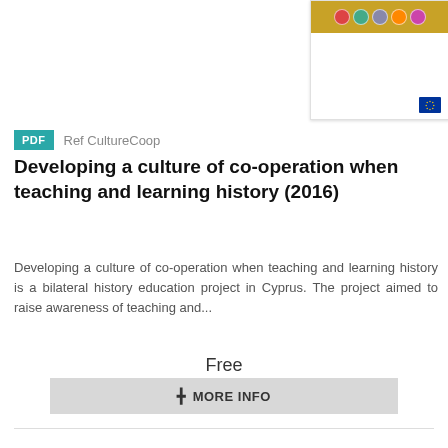[Figure (illustration): Book cover thumbnail showing colored face circles on yellow background and EU logo on white background]
PDF   Ref CultureCoop
Developing a culture of co-operation when teaching and learning history (2016)
Developing a culture of co-operation when teaching and learning history is a bilateral history education project in Cyprus. The project aimed to raise awareness of teaching and...
Free
+ MORE INFO
[Figure (illustration): Second book cover thumbnail with orange background showing text about developing ability of students to assess information from media and social networks, with photo strip at bottom]